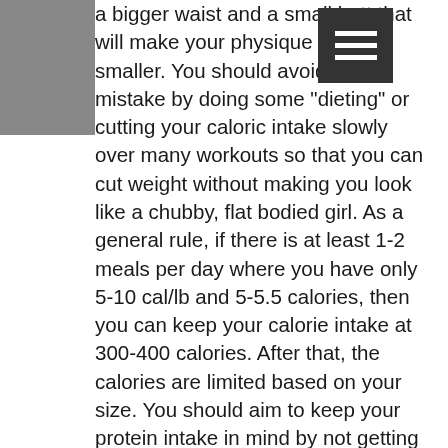a bigger waist and a small butt that will make your physique seem smaller. You should avoid this mistake by doing some "dieting" or cutting your caloric intake slowly over many workouts so that you can cut weight without making you look like a chubby, flat bodied girl. As a general rule, if there is at least 1-2 meals per day where you have only 5-10 cal/lb and 5-5.5 calories, then you can keep your calorie intake at 300-400 calories. After that, the calories are limited based on your size. You should aim to keep your protein intake in mind by not getting too much protein in your diet as it will lead to an imbalance in your insulin levels, which can lead to overeating and insulin resistance.
The good news is that this post is going to help you with some important diet-related issues and tricks when training for bodybuilding contests. These are going to help you to be leaner and to make sure that